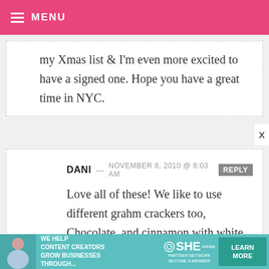MENU
my Xmas list & I'm even more excited to have a signed one. Hope you have a great time in NYC.
DANI — NOVEMBER 8, 2010 @ 8:03 AM  REPLY
Love all of these! We like to use different grahm crackers too, Chocolate, and cinnamon with white chocolate. Your pictures make it all look very romantic. Where are the